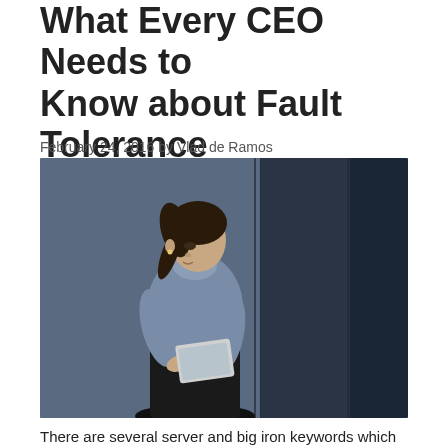What Every CEO Needs to Know about Fault Tolerance
February 24, 2016 by Vlad de Ramos
[Figure (photo): A woman in a blue short-sleeve shirt holding a tablet, standing against a dark blue-gray wall, looking down at the device.]
There are several server and big iron keywords which have been lumped together simply